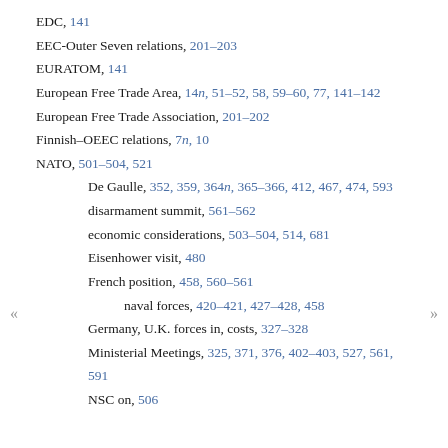EDC, 141
EEC-Outer Seven relations, 201–203
EURATOM, 141
European Free Trade Area, 14n, 51–52, 58, 59–60, 77, 141–142
European Free Trade Association, 201–202
Finnish–OEEC relations, 7n, 10
NATO, 501–504, 521
De Gaulle, 352, 359, 364n, 365–366, 412, 467, 474, 593
disarmament summit, 561–562
economic considerations, 503–504, 514, 681
Eisenhower visit, 480
French position, 458, 560–561
naval forces, 420–421, 427–428, 458
Germany, U.K. forces in, costs, 327–328
Ministerial Meetings, 325, 371, 376, 402–403, 527, 561, 591
NSC on, 506